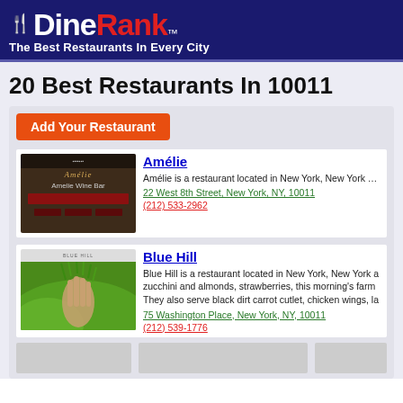[Figure (logo): DineRank logo with fork icon and tagline 'The Best Restaurants In Every City' on dark navy background]
20 Best Restaurants In 10011
Add Your Restaurant
[Figure (photo): Amélie Wine Bar restaurant thumbnail image with dark brown background]
Amélie
Amélie is a restaurant located in New York, New York at you'll find the specials menus and events coming up soo dramatic wall of lushly lit wine bottles and soaring woode
22 West 8th Street, New York, NY, 10011
(212) 533-2962
[Figure (photo): Blue Hill restaurant thumbnail image with hand holding green herbs/plants]
Blue Hill
Blue Hill is a restaurant located in New York, New York a zucchini and almonds, strawberries, this morning's farm They also serve black dirt carrot cutlet, chicken wings, la
75 Washington Place, New York, NY, 10011
(212) 539-1776